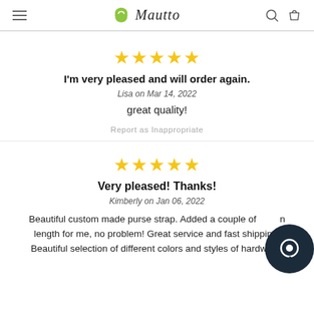Mautto
[Figure (other): 5 gold stars rating]
I'm very pleased and will order again.
Lisa on Mar 14, 2022
great quality!
Report as Inappropriate
[Figure (other): 5 gold stars rating]
Very pleased! Thanks!
Kimberly on Jan 06, 2022
Beautiful custom made purse strap. Added a couple of inches in length for me, no problem! Great service and fast shipping. Beautiful selection of different colors and styles of hardware.